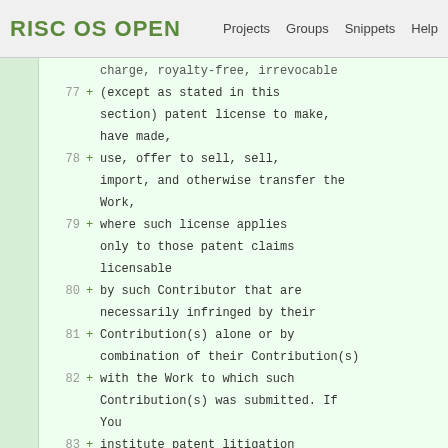RISC OS OPEN  Projects  Groups  Snippets  Help
charge, royalty-free, irrevocable
77 +      (except as stated in this
section) patent license to make,
have made,
78 +      use, offer to sell, sell,
import, and otherwise transfer the
Work,
79 +      where such license applies
only to those patent claims
licensable
80 +      by such Contributor that are
necessarily infringed by their
81 +      Contribution(s) alone or by
combination of their Contribution(s)
82 +      with the Work to which such
Contribution(s) was submitted. If
You
83 +      institute patent litigation
against any entity (including a
84 +      cross-claim or counterclaim
in a lawsuit) alleging that the Work